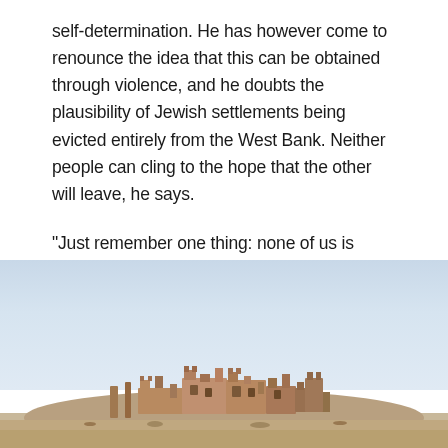self-determination. He has however come to renounce the idea that this can be obtained through violence, and he doubts the plausibility of Jewish settlements being evicted entirely from the West Bank. Neither people can cling to the hope that the other will leave, he says.
“Just remember one thing: none of us is going to disappear from this land,” Awwad says.
[Figure (photo): Photograph of ancient stone ruins or fortress on a hill against a hazy light blue sky. The ruins appear to be a fortified structure made of brownish-orange stone, situated on elevated ground.]